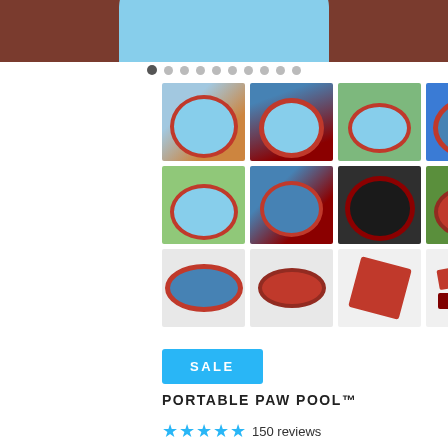[Figure (photo): Top portion of a blue round dog pool on a wooden deck background]
[Figure (photo): Grid of 12 thumbnail photos showing dogs in a portable round pool (Portable Paw Pool) in various settings, plus product-only shots and disassembled pool components]
SALE
PORTABLE PAW POOL™
★★★★★ 150 reviews